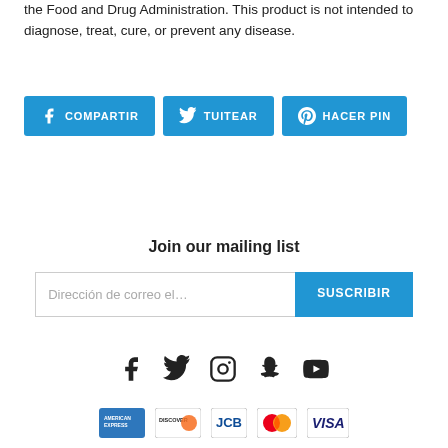the Food and Drug Administration. This product is not intended to diagnose, treat, cure, or prevent any disease.
[Figure (other): Three social share buttons: COMPARTIR (Facebook), TUITEAR (Twitter), HACER PIN (Pinterest), all in blue]
Join our mailing list
[Figure (other): Email input field with placeholder 'Dirección de correo el...' and SUSCRIBIR button in blue]
[Figure (other): Social media icons: Facebook, Twitter, Instagram, Snapchat, YouTube]
[Figure (other): Payment method logos: American Express, Discover, JCB, MasterCard, VISA]